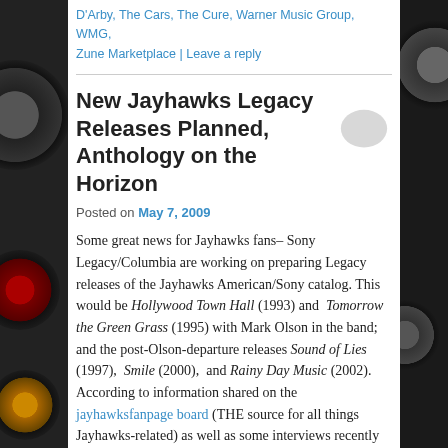D'Arby, The Cars, The Cure, Warner Music Group, WMG, Zune Marketplace | Leave a reply
New Jayhawks Legacy Releases Planned, Anthology on the Horizon
Posted on May 7, 2009
Some great news for Jayhawks fans– Sony Legacy/Columbia are working on preparing Legacy releases of the Jayhawks American/Sony catalog. This would be Hollywood Town Hall (1993) and Tomorrow the Green Grass (1995) with Mark Olson in the band; and the post-Olson-departure releases Sound of Lies (1997), Smile (2000), and Rainy Day Music (2002). According to information shared on the jayhawksfanpage board (THE source for all things Jayhawks-related) as well as some interviews recently Gary and Mark (mostly Gary) have